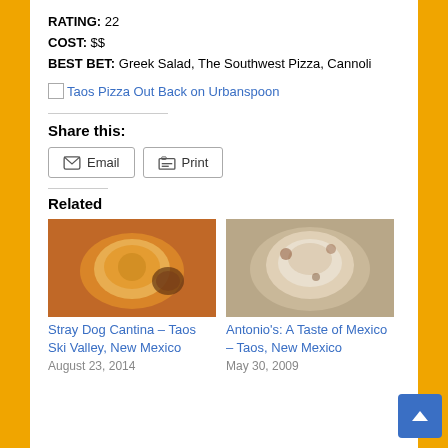RATING: 22
COST: $$
BEST BET: Greek Salad, The Southwest Pizza, Cannoli
[Figure (other): Broken image icon with link text 'Taos Pizza Out Back on Urbanspoon']
Share this:
Email  Print
Related
[Figure (photo): Food photo showing a bowl of cheesy dish with beans, from Stray Dog Cantina]
Stray Dog Cantina – Taos Ski Valley, New Mexico
August 23, 2014
[Figure (photo): Food photo showing a meat dish from Antonio's]
Antonio's: A Taste of Mexico – Taos, New Mexico
May 30, 2009